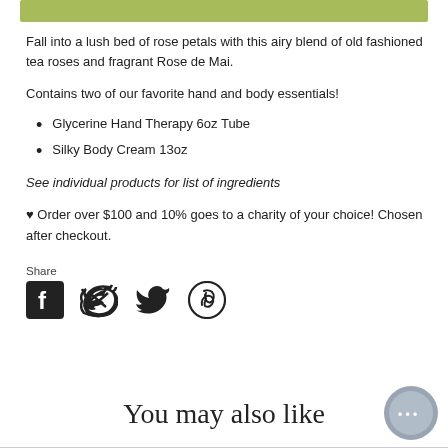[Figure (other): Green decorative bar at top of page]
Fall into a lush bed of rose petals with this airy blend of old fashioned tea roses and fragrant Rose de Mai.
Contains two of our favorite hand and body essentials!
Glycerine Hand Therapy 6oz Tube
Silky Body Cream 13oz
See individual products for list of ingredients
♥ Order over $100 and 10% goes to a charity of your choice! Chosen after checkout.
Share
[Figure (other): Social media share icons: Facebook, Twitter, Pinterest]
You may also like